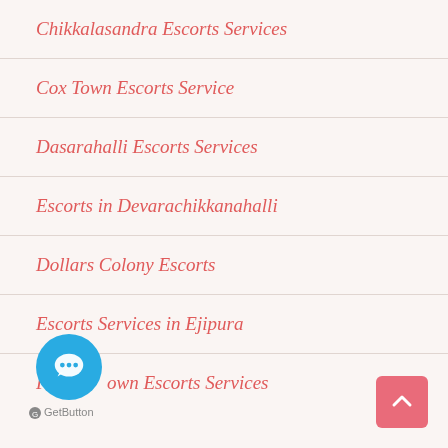Chikkalasandra Escorts Services
Cox Town Escorts Service
Dasarahalli Escorts Services
Escorts in Devarachikkanahalli
Dollars Colony Escorts
Escorts Services in Ejipura
Fraser Town Escorts Services